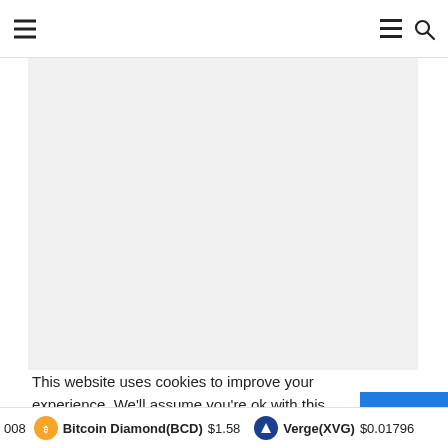Navigation bar with hamburger menu and search icon
[Figure (other): Large light gray rectangular content area placeholder]
This website uses cookies to improve your experience. We'll assume you're ok with this, but you can opt-out if you w...
008   Bitcoin Diamond(BCD) $1.58   Verge(XVG) $0.01796